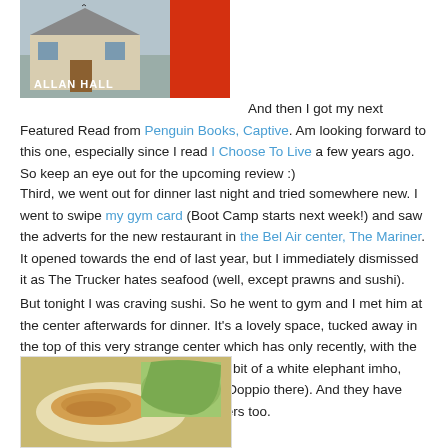[Figure (photo): Book cover photo showing a house with text 'ALLAN HALL' and a red book cover on the right side]
And then I got my next Featured Read from Penguin Books, Captive. Am looking forward to this one, especially since I read I Choose To Live a few years ago. So keep an eye out for the upcoming review :)
Third, we went out for dinner last night and tried somewhere new. I went to swipe my gym card (Boot Camp starts next week!) and saw the adverts for the new restaurant in the Bel Air center, The Mariner. It opened towards the end of last year, but I immediately dismissed it as The Trucker hates seafood (well, except prawns and sushi).
But tonight I was craving sushi. So he went to gym and I met him at the center afterwards for dinner. It's a lovely space, tucked away in the top of this very strange center which has only recently, with the new Game, become popular (it is a bit of a white elephant imho, although we often breakfast at the Doppio there). And they have something for the non-seafood eaters too.
[Figure (photo): Food photo showing what appears to be fish or seafood dish on a plate]